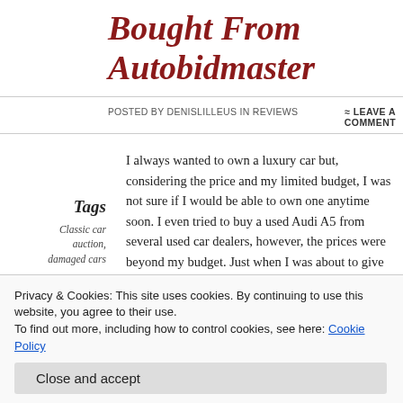Bought From Autobidmaster
Posted by denislilleus in Reviews ≈ Leave a Comment
Tags
Classic car auction, damaged cars
I always wanted to own a luxury car but, considering the price and my limited budget, I was not sure if I would be able to own one anytime soon. I even tried to buy a used Audi A5 from several used car dealers, however, the prices were beyond my budget. Just when I was about to give up, one of my friends suggested that I should try AutoBidMaster, a platform
Privacy & Cookies: This site uses cookies. By continuing to use this website, you agree to their use. To find out more, including how to control cookies, see here: Cookie Policy
Close and accept